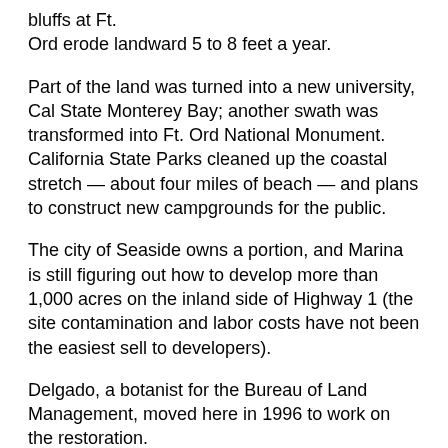bluffs at Ft.
Ord erode landward 5 to 8 feet a year.
Part of the land was turned into a new university, Cal State Monterey Bay; another swath was transformed into Ft. Ord National Monument.
California State Parks cleaned up the coastal stretch — about four miles of beach — and plans to construct new campgrounds for the public.
The city of Seaside owns a portion, and Marina is still figuring out how to develop more than 1,000 acres on the inland side of Highway 1 (the site contamination and labor costs have not been the easiest sell to developers).
Delgado, a botanist for the Bureau of Land Management, moved here in 1996 to work on the restoration.
He got swept into local politics in 1999, when he heard that city leaders wanted to turn open space into 3,500 large homes, positioning Marina as a bedroom community for a new corporate business park over the hill.